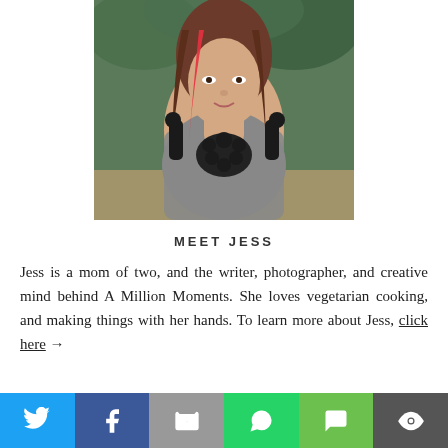[Figure (photo): Portrait photo of Jess, a woman with long brown hair with red highlights, wearing a gray top with black floral embellishment, seated outdoors with green foliage background.]
MEET JESS
Jess is a mom of two, and the writer, photographer, and creative mind behind A Million Moments. She loves vegetarian cooking, and making things with her hands. To learn more about Jess, click here →
[Figure (infographic): Share bar with six social sharing buttons: Twitter (blue), Facebook (dark blue), Email (gray), WhatsApp (green), SMS (light green), More (dark gray)]